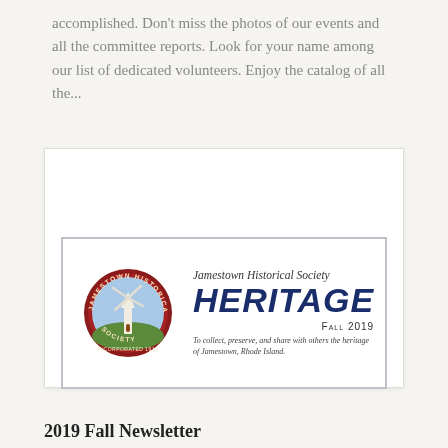accomplished.  Don't miss the photos of our events and all the committee reports. Look for your name among our list of dedicated volunteers.  Enjoy the catalog of all the...
[Figure (illustration): Jamestown Historical Society Heritage newsletter cover for Fall 2019, featuring the society's circular logo with a windmill image on the left and bold italic 'HERITAGE' title text with 'Jamestown Historical Society' above and tagline 'To collect, preserve, and share with others the heritage of Jamestown, Rhode Island.' below.]
2019 Fall Newsletter